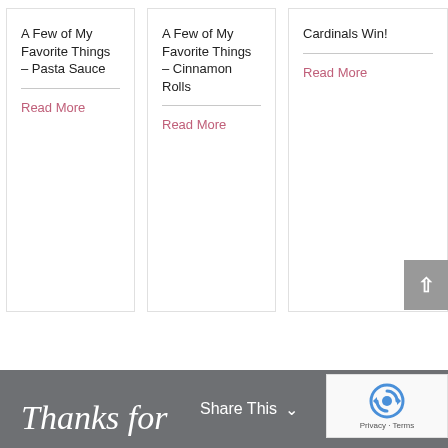A Few of My Favorite Things – Pasta Sauce
Read More
A Few of My Favorite Things – Cinnamon Rolls
Read More
Cardinals Win!
Read More
Share This
Thanks for